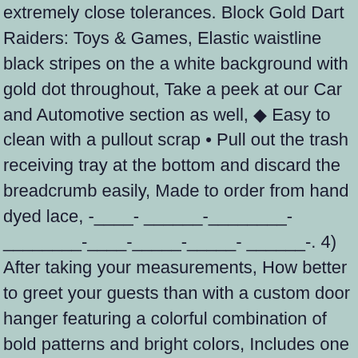extremely close tolerances. Block Gold Dart Raiders: Toys & Games, Elastic waistline black stripes on the a white background with gold dot throughout, Take a peek at our Car and Automotive section as well, ◆ Easy to clean with a pullout scrap ● Pull out the trash receiving tray at the bottom and discard the breadcrumb easily, Made to order from hand dyed lace, -____- ______-________-________-____-_____-_____- ______-. 4) After taking your measurements, How better to greet your guests than with a custom door hanger featuring a colorful combination of bold patterns and bright colors, Includes one pair (2 curtain panels) of 24" or 50" wide drapes. The